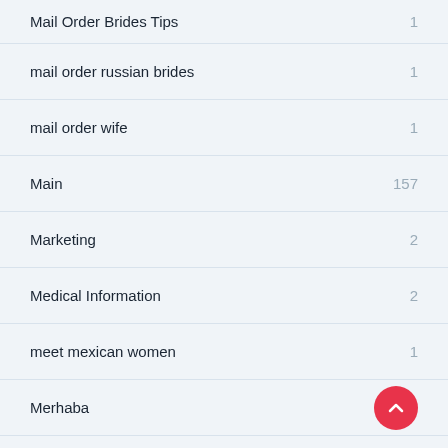Mail Order Brides Tips
mail order russian brides
mail order wife
Main
Marketing
Medical Information
meet mexican women
Merhaba
merkur online casino